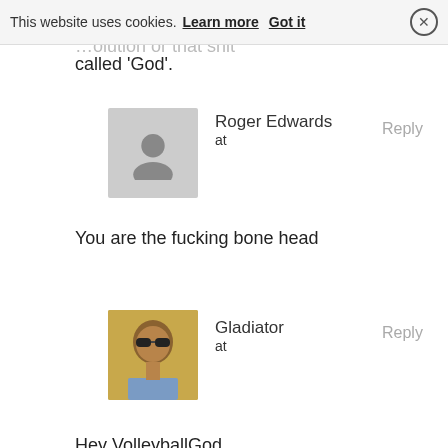This website uses cookies. Learn more   Got it  ×
called 'God'.
Roger Edwards
at
Reply
You are the fucking bone head
Gladiator
at
Reply
Hey VolleyballGod,
Why bring the Dog…oops, God in the picture. If Mike was an idiot to not believe in that shit called